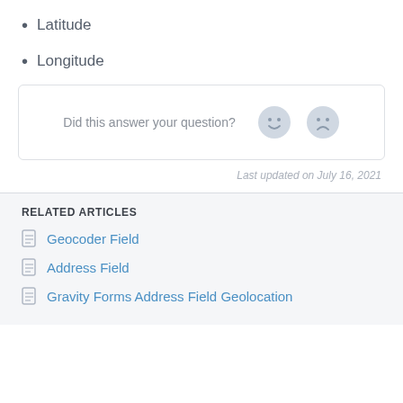Latitude
Longitude
[Figure (other): Feedback widget: 'Did this answer your question?' with a happy face and sad face emoji buttons]
Last updated on July 16, 2021
RELATED ARTICLES
Geocoder Field
Address Field
Gravity Forms Address Field Geolocation